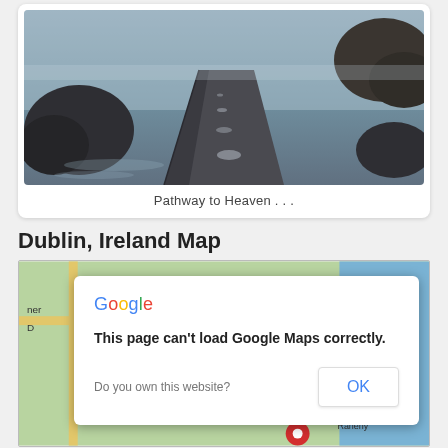[Figure (photo): Long-exposure photo of a stone pathway or pier extending into calm misty water, with large rocks on either side. Cool blue-grey tones.]
Pathway to Heaven . . .
Dublin, Ireland Map
[Figure (map): Google Maps view of Dublin, Ireland area showing roads and water. A Google Maps error dialog overlays the map: 'This page can't load Google Maps correctly.' with 'Do you own this website?' and an OK button.]